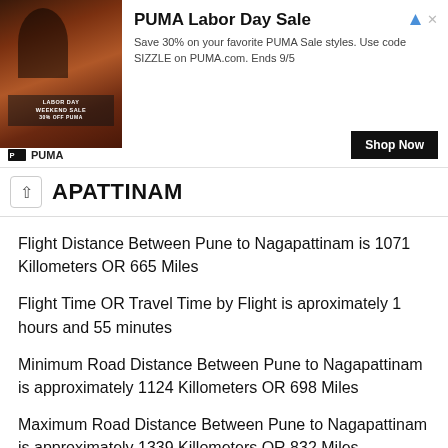[Figure (other): PUMA Labor Day Sale advertisement banner with athlete image on left]
APATTINAM
Flight Distance Between Pune to Nagapattinam is 1071 Killometers OR 665 Miles
Flight Time OR Travel Time by Flight is aproximately 1 hours and 55 minutes
Minimum Road Distance Between Pune to Nagapattinam is approximately 1124 Killometers OR 698 Miles
Maximum Road Distance Between Pune to Nagapattinam is approximately 1339 Killometers OR 832 Miles
Travel Time by Road Distance Between Pune And Nagapattinam By